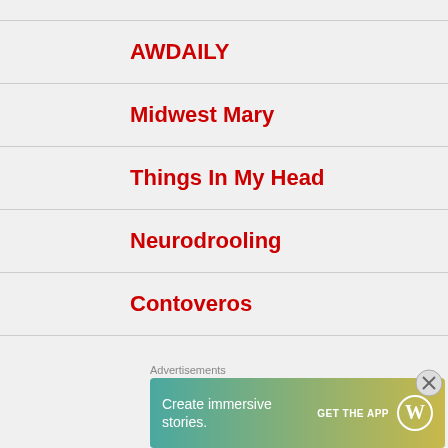AWDAILY
Midwest Mary
Things In My Head
Neurodrooling
Contoveros
Advertisements
[Figure (infographic): WordPress advertisement banner: 'Create immersive stories. GET THE APP' with WordPress logo, gradient teal-to-yellow background]